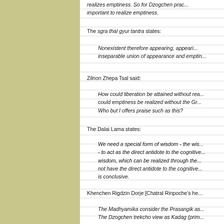realizes emptiness. So for Dzogchen practitioners, it is also important to realize emptiness.
The sgra thal gyur tantra states:
Nonexistent therefore appearing, appearing therefore empty, inseparable union of appearance and emptiness.
Zilnon Zhepa Tsal said:
How could liberation be attained without realizing emptiness? How could emptiness be realized without the Great Perfection? Who but I offers praise such as this?
The Dalai Lama states:
We need a special form of wisdom - the wisdom realizing emptiness - to act as the direct antidote to the cognitive obscurations. This wisdom, which can be realized through the Madhyamika view, does not have the direct antidote to the cognitive obscurations. This point is conclusive.
Khenchen Rigdzin Dorje [Chatral Rinpoche's heart son] states:
The Madhyamika consider the Prasangika as the highest view. The Dzogchen trekcho view as Kadag (primordial purity)...